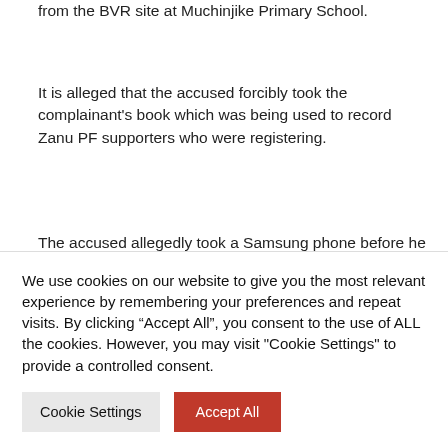from the BVR site at Muchinjike Primary School.
It is alleged that the accused forcibly took the complainant's book which was being used to record Zanu PF supporters who were registering.
The accused allegedly took a Samsung phone before he sped away.
The matter was reported to the police, leading to Mutize's
We use cookies on our website to give you the most relevant experience by remembering your preferences and repeat visits. By clicking “Accept All”, you consent to the use of ALL the cookies. However, you may visit "Cookie Settings" to provide a controlled consent.